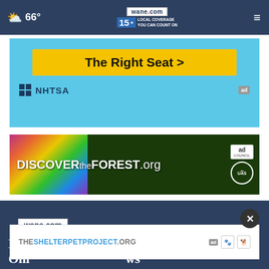wane.com 15 LOCAL COVERAGE YOU CAN COUNT ON | 66°
[Figure (screenshot): NHTSA advertisement with yellow button reading 'The Right Seat >' on light blue background with NHTSA logo]
[Figure (screenshot): DISCOVERtheFOREST.org advertisement with forest background and colorful flowers, Ad Council and US Forest Service logos]
[Figure (logo): wane.com logo with '15 LOCAL COVERAGE YOU CAN COUNT ON' on dark blue background]
Northeast Indiana and northwest Ohio news source
[Figure (screenshot): THESHELTERPETPROJECT.ORG advertisement overlay with close button]